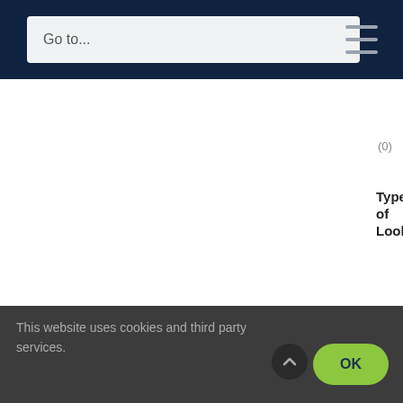Go to...
(0)
Type of Look
Own
Book
Coun
Clern
Coun
Brief
Direc
Desc
This website uses cookies and third party services.